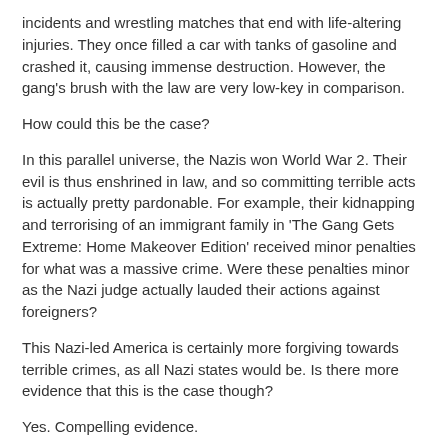incidents and wrestling matches that end with life-altering injuries. They once filled a car with tanks of gasoline and crashed it, causing immense destruction. However, the gang's brush with the law are very low-key in comparison.
How could this be the case?
In this parallel universe, the Nazis won World War 2. Their evil is thus enshrined in law, and so committing terrible acts is actually pretty pardonable. For example, their kidnapping and terrorising of an immigrant family in 'The Gang Gets Extreme: Home Makeover Edition' received minor penalties for what was a massive crime. Were these penalties minor as the Nazi judge actually lauded their actions against foreigners?
This Nazi-led America is certainly more forgiving towards terrible crimes, as all Nazi states would be. Is there more evidence that this is the case though?
Yes. Compelling evidence.